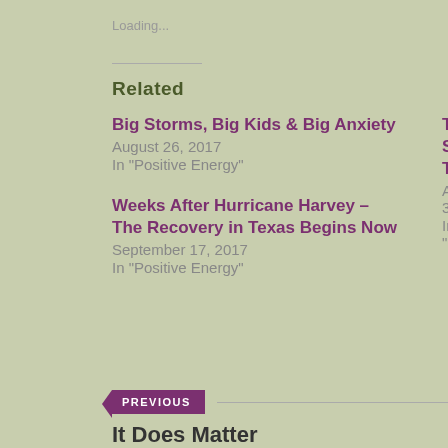Loading...
Related
Big Storms, Big Kids & Big Anxiety
August 26, 2017
In "Positive Energy"
Texas Still Together
August 30
In "Positive
Weeks After Hurricane Harvey – The Recovery in Texas Begins Now
September 17, 2017
In "Positive Energy"
PREVIOUS
It Does Matter